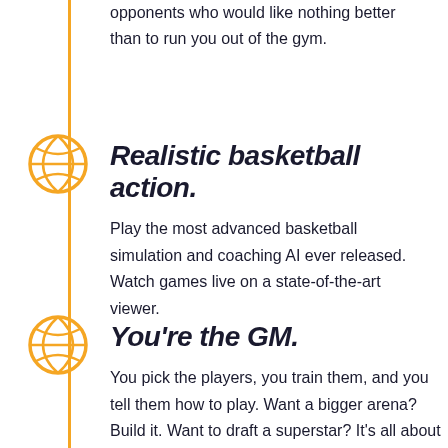opponents who would like nothing better than to run you out of the gym.
Realistic basketball action.
Play the most advanced basketball simulation and coaching AI ever released. Watch games live on a state-of-the-art viewer.
You're the GM.
You pick the players, you train them, and you tell them how to play. Want a bigger arena? Build it. Want to draft a superstar? It's all about scouting.